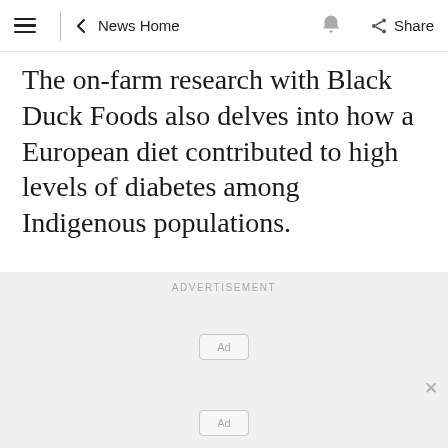≡ | ← News Home 🔔 Share
The on-farm research with Black Duck Foods also delves into how a European diet contributed to high levels of diabetes among Indigenous populations.
[Figure (other): Advertisement placeholder section with 'ADVERTISEMENT' label, two 'Ad' placeholder boxes, and a close (×) button.]